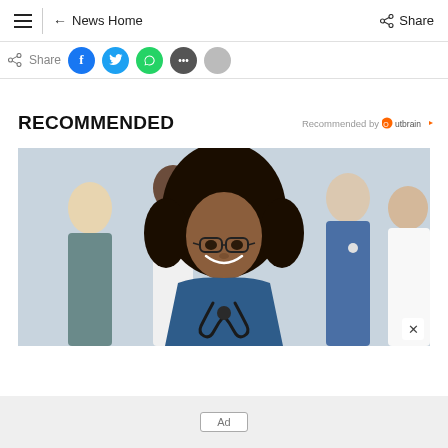☰ | ← News Home   Share
Share (social icons)
RECOMMENDED
Recommended by Outbrain
[Figure (photo): Group of medical professionals in scrubs smiling, focus on a young woman with curly hair and glasses wearing blue scrubs and a stethoscope]
Ad